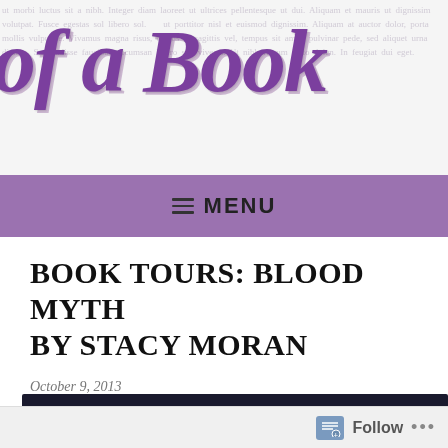[Figure (logo): Blog header banner showing 'of a Book' in large purple cursive script over light gray background with faint watermark lorem ipsum text]
≡ MENU
BOOK TOURS: BLOOD MYTH BY STACY MORAN
October 9, 2013
[Figure (screenshot): Dark colored bar at bottom representing top of a book cover image]
Follow ...